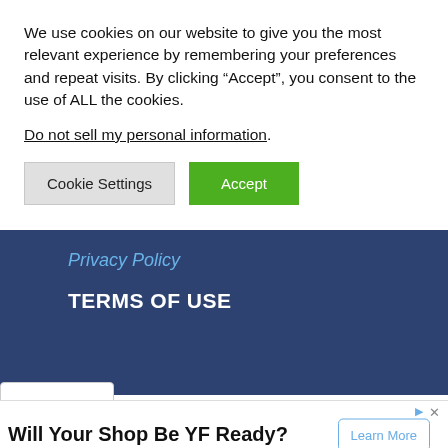We use cookies on our website to give you the most relevant experience by remembering your preferences and repeat visits. By clicking “Accept”, you consent to the use of ALL the cookies.
Do not sell my personal information.
Cookie Settings
Accept
Privacy Policy
TERMS OF USE
[Figure (screenshot): Dropdown chevron element]
Will Your Shop Be YF Ready?
Opteon™ YF. The new standard in automotive air conditioning. Opteon Refrigerants
Learn More